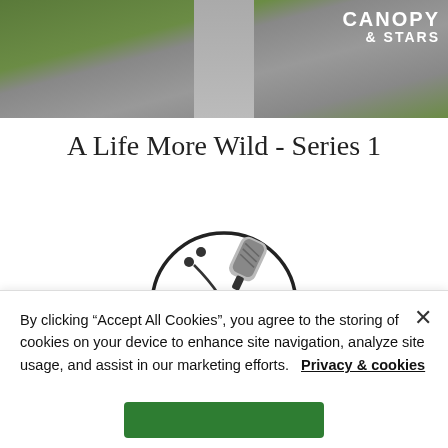[Figure (photo): Hero image of a road/path with green grass on either side, with Canopy & Stars logo in top right corner]
A Life More Wild - Series 1
[Figure (logo): British Podcast Awards circular logo with microphone and earphones graphic]
By clicking “Accept All Cookies”, you agree to the storing of cookies on your device to enhance site navigation, analyze site usage, and assist in our marketing efforts.   Privacy & cookies